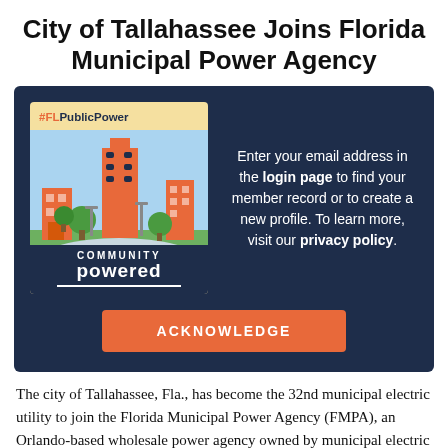City of Tallahassee Joins Florida Municipal Power Agency
[Figure (screenshot): Dark navy overlay box with FL Public Power community powered illustration on left and login prompt text on right, with an orange ACKNOWLEDGE button at the bottom.]
The city of Tallahassee, Fla., has become the 32nd municipal electric utility to join the Florida Municipal Power Agency (FMPA), an Orlando-based wholesale power agency owned by municipal electric utilities throughout the state. "Municipal electric utilities